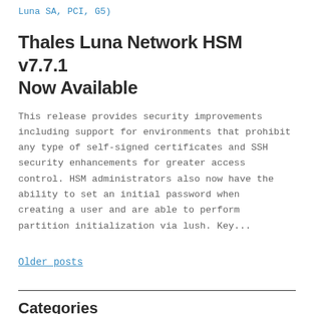Luna SA, PCI, G5)
Thales Luna Network HSM v7.7.1 Now Available
This release provides security improvements including support for environments that prohibit any type of self-signed certificates and SSH security enhancements for greater access control. HSM administrators also now have the ability to set an initial password when creating a user and are able to perform partition initialization via lush. Key...
Older posts
Categories